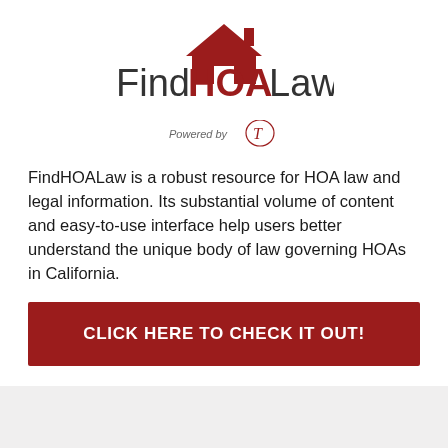[Figure (logo): FindHOALaw logo with house icon in dark red and 'Powered by' tagline with stylized T mark below]
FindHOALaw is a robust resource for HOA law and legal information. Its substantial volume of content and easy-to-use interface help users better understand the unique body of law governing HOAs in California.
CLICK HERE TO CHECK IT OUT!
Topics
Firm News